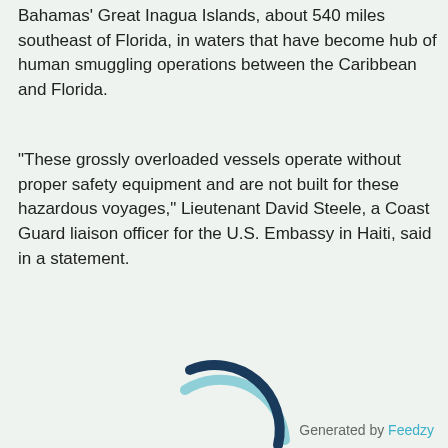Bahamas' Great Inagua Islands, about 540 miles southeast of Florida, in waters that have become hub of human smuggling operations between the Caribbean and Florida.
“These grossly overloaded vessels operate without proper safety equipment and are not built for these hazardous voyages,” Lieutenant David Steele, a Coast Guard liaison officer for the U.S. Embassy in Haiti, said in a statement.
[Figure (other): A loading spinner graphic composed of a dark navy arc and a light teal arc forming a circular spinner animation indicator.]
Generated by Feedzy